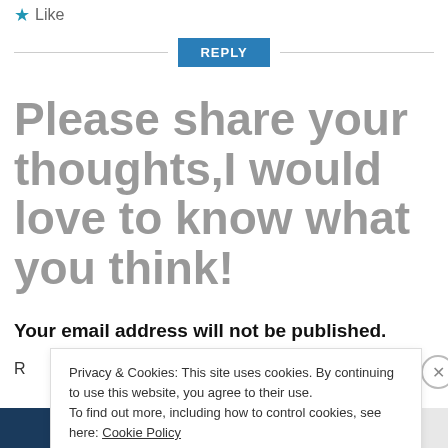★ Like
REPLY
Please share your thoughts,I would love to know what you think!
Your email address will not be published.
Privacy & Cookies: This site uses cookies. By continuing to use this website, you agree to their use.
To find out more, including how to control cookies, see here: Cookie Policy
Close and accept